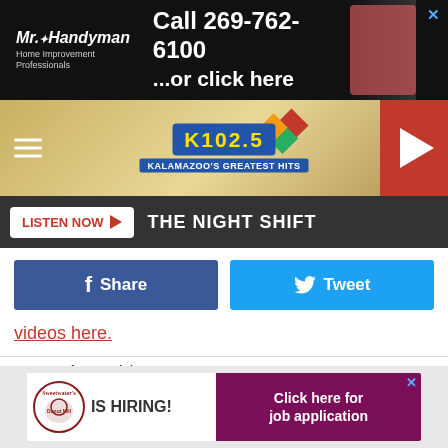[Figure (screenshot): Mr. Handyman advertisement banner: 'Call 269-762-6100 ...or click here']
[Figure (logo): K102.5 Kalamazoo's Greatest Hits radio station logo with hamburger menu and play button]
LISTEN NOW ▶  THE NIGHT SHIFT
[Figure (infographic): Facebook Share button and Twitter Tweet button]
videos here.
Categories: Articles
Comments
LEAVE A COMMENT
FEATURED
[Figure (screenshot): Sweetwater's Donut Mill IS HIRING! Click here for job application advertisement]